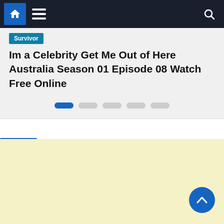Navigation bar with home, menu, and search icons
Survivor
Im a Celebrity Get Me Out of Here Australia Season 01 Episode 08 Watch Free Online
[Figure (other): Carousel navigation dots: first dot active (blue), four inactive (gray)]
Ads
[Figure (other): Advertisement area with pale yellow background]